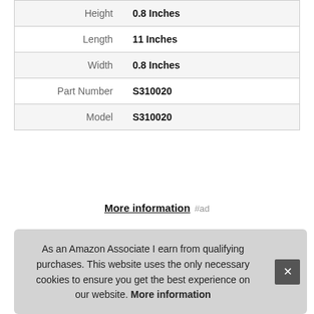| Attribute | Value |
| --- | --- |
| Height | 0.8 Inches |
| Length | 11 Inches |
| Width | 0.8 Inches |
| Part Number | S310020 |
| Model | S310020 |
More information #ad
3. N H
#ad
As an Amazon Associate I earn from qualifying purchases. This website uses the only necessary cookies to ensure you get the best experience on our website. More information